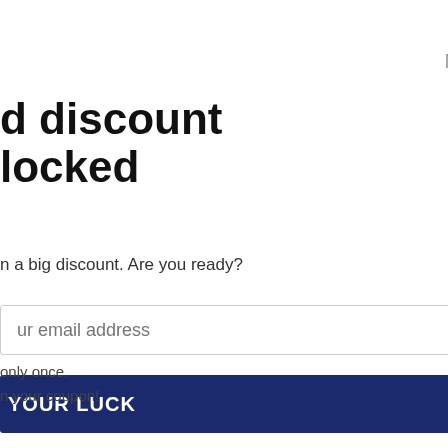all orders
Not today  X
d discount
locked
n a big discount. Are you ready?
ur email address
YOUR LUCK
only once.
n your coupon!
ABS Plastic Lei Frog
og Frog Special Frog